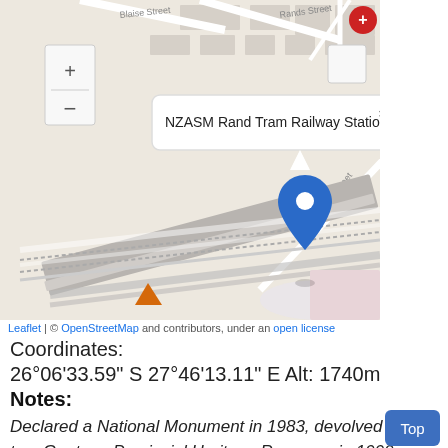[Figure (map): Interactive Leaflet/OpenStreetMap showing location of NZASM Rand Tram Railway Station in Krugersdorp, with a blue map pin marker and popup label. Map shows street network including Monument Street, Rands Street, Boshoff Street. Railway tracks visible. Map controls (+/-) on left side. Red circle with plus icon on top right.]
Leaflet | © OpenStreetMap and contributors, under an open license
Coordinates:
26°06'33.59" S 27°46'13.11" E Alt: 1740m
Notes:
Declared a National Monument in 1983, devolved to a Gauteng Provincial Heritage Resource in 1999. [SAHRIS]
Constructed by the…